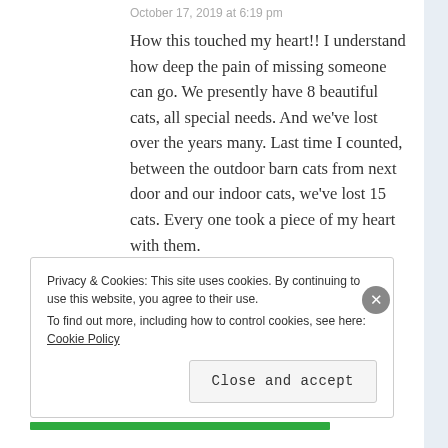October 17, 2019 at 6:19 pm
How this touched my heart!! I understand how deep the pain of missing someone can go. We presently have 8 beautiful cats, all special needs. And we've lost over the years many. Last time I counted, between the outdoor barn cats from next door and our indoor cats, we've lost 15 cats. Every one took a piece of my heart with them.
★ Like
Reply →
Privacy & Cookies: This site uses cookies. By continuing to use this website, you agree to their use.
To find out more, including how to control cookies, see here: Cookie Policy
Close and accept